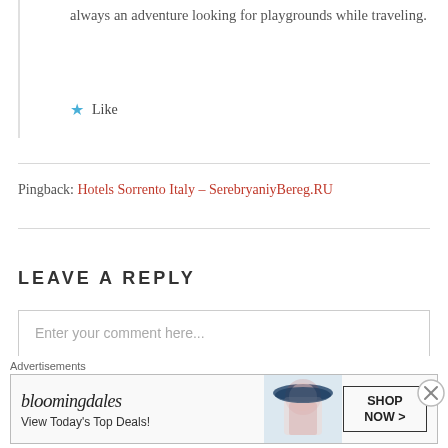always an adventure looking for playgrounds while traveling.
★ Like
Pingback: Hotels Sorrento Italy – SerebryaniyBereg.RU
LEAVE A REPLY
Enter your comment here...
Advertisements
[Figure (other): Bloomingdale's advertisement banner: bloomingdales logo, 'View Today's Top Deals!', woman with hat, 'SHOP NOW >' button]